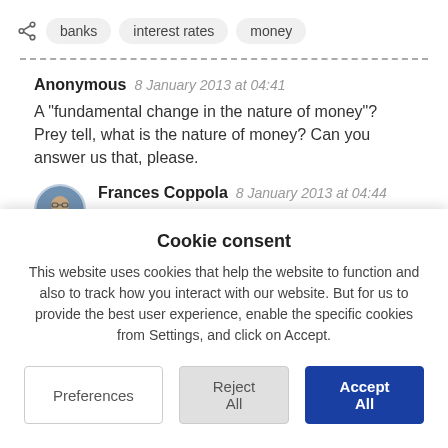banks   interest rates   money
Anonymous  8 January 2013 at 04:41
A "fundamental change in the nature of money"? Prey tell, what is the nature of money? Can you answer us that, please.
Frances Coppola  8 January 2013 at 04:44
I did give a very brief definition in the
Cookie consent
This website uses cookies that help the website to function and also to track how you interact with our website. But for us to provide the best user experience, enable the specific cookies from Settings, and click on Accept.
Preferences   Reject All   Accept All